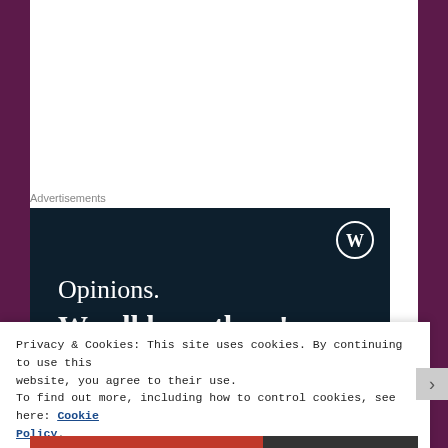Advertisements
[Figure (illustration): Dark navy blue advertisement banner with WordPress logo (W in circle) in top right corner. Text reads 'Opinions.' in white serif font and 'We all have them!' in white bold serif font.]
Privacy & Cookies: This site uses cookies. By continuing to use this website, you agree to their use.
To find out more, including how to control cookies, see here: Cookie Policy
Close and accept